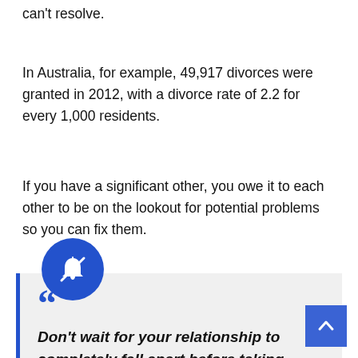can't resolve.
In Australia, for example, 49,917 divorces were granted in 2012, with a divorce rate of 2.2 for every 1,000 residents.
If you have a significant other, you owe it to each other to be on the lookout for potential problems so you can fix them.
Don't wait for your relationship to completely fall apart before taking action.